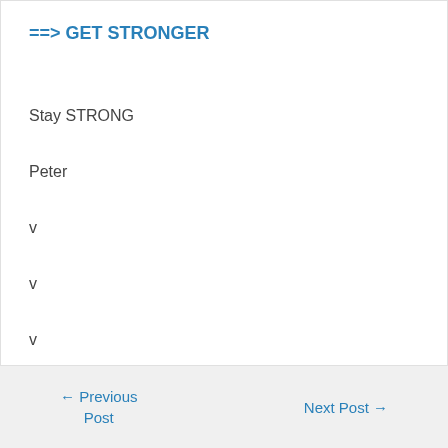==> GET STRONGER
Stay STRONG
Peter
v
v
v
v
← Previous Post     Next Post →